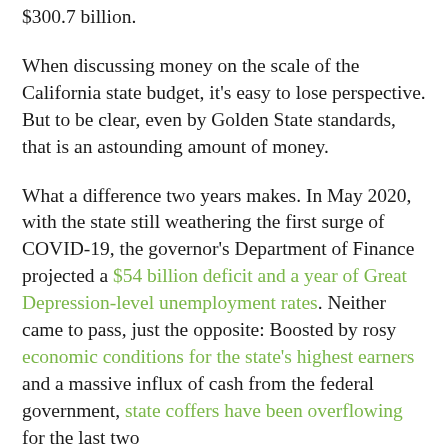$300.7 billion.
When discussing money on the scale of the California state budget, it's easy to lose perspective. But to be clear, even by Golden State standards, that is an astounding amount of money.
What a difference two years makes. In May 2020, with the state still weathering the first surge of COVID-19, the governor's Department of Finance projected a $54 billion deficit and a year of Great Depression-level unemployment rates. Neither came to pass, just the opposite: Boosted by rosy economic conditions for the state's highest earners and a massive influx of cash from the federal government, state coffers have been overflowing for the last two